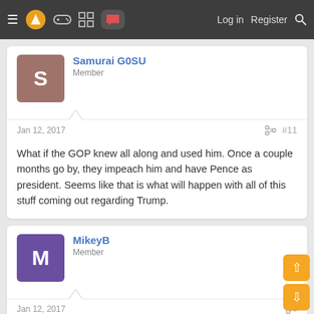≡ [logo] [gamepad] [grid] [forum] Log in Register [search]
Samurai G0SU
Member
Jan 12, 2017
#11
What if the GOP knew all along and used him. Once a couple months go by, they impeach him and have Pence as president. Seems like that is what will happen with all of this stuff coming out regarding Trump.
MikeyB
Member
Jan 12, 2017
Samurai G0SU said: